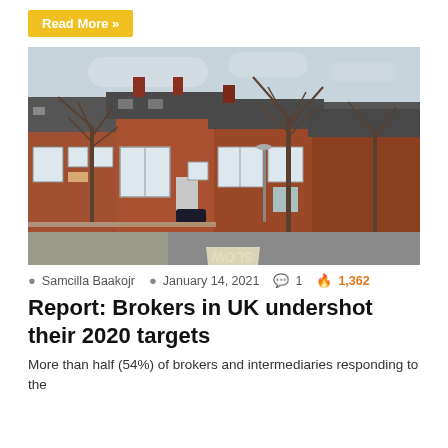Read More »
[Figure (photo): Street view of a row of red brick terraced houses in the UK, with bare winter trees lining the pavement and a road sign reading SLOW on the tarmac.]
Samcilla Baakojr  January 14, 2021  1  1,362
Report: Brokers in UK undershot their 2020 targets
More than half (54%) of brokers and intermediaries responding to the